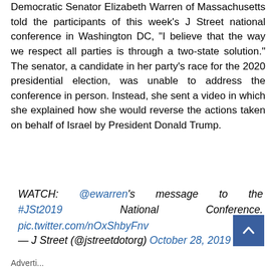Democratic Senator Elizabeth Warren of Massachusetts told the participants of this week's J Street national conference in Washington DC, "I believe that the way we respect all parties is through a two-state solution." The senator, a candidate in her party's race for the 2020 presidential election, was unable to address the conference in person. Instead, she sent a video in which she explained how she would reverse the actions taken on behalf of Israel by President Donald Trump.
WATCH: @ewarren's message to the #JSt2019 National Conference. pic.twitter.com/nOxShbyFnv
— J Street (@jstreetdotorg) October 28, 2019
Adverti...